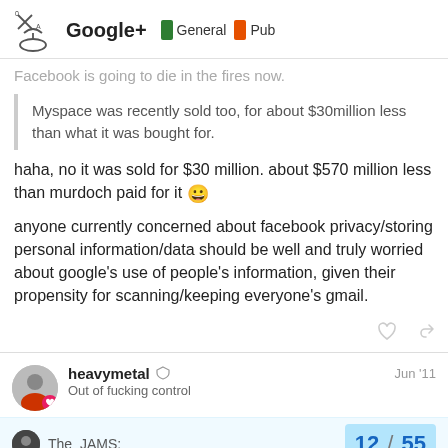Google+ | General | Pub
Facebook is going to die in the fires now.
Myspace was recently sold too, for about $30million less than what it was bought for.
haha, no it was sold for $30 million. about $570 million less than murdoch paid for it 😀
anyone currently concerned about facebook privacy/storing personal information/data should be well and truly worried about google's use of people's information, given their propensity for scanning/keeping everyone's gmail.
heavymetal  Out of fucking control  Jun '11
The_JAMS:
12 / 55